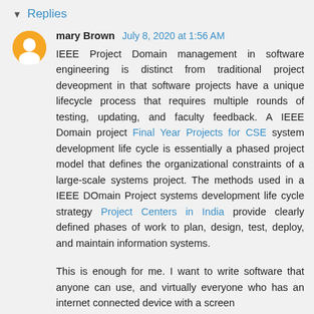▾ Replies
mary Brown  July 8, 2020 at 1:56 AM
IEEE Project Domain management in software engineering is distinct from traditional project deveopment in that software projects have a unique lifecycle process that requires multiple rounds of testing, updating, and faculty feedback. A IEEE Domain project Final Year Projects for CSE system development life cycle is essentially a phased project model that defines the organizational constraints of a large-scale systems project. The methods used in a IEEE DOmain Project systems development life cycle strategy Project Centers in India provide clearly defined phases of work to plan, design, test, deploy, and maintain information systems.
This is enough for me. I want to write software that anyone can use, and virtually everyone who has an internet connected device with a screen